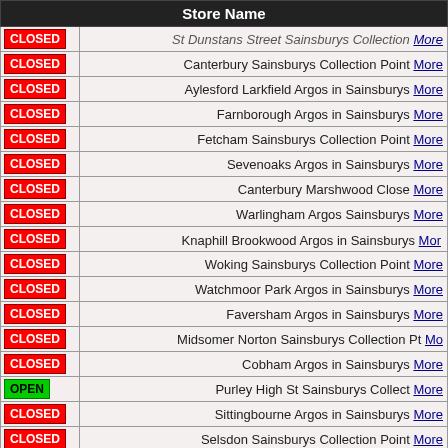| Store Name |
| --- |
| CLOSED | St Dunstans Street Sainsburys Collection More |
| CLOSED | Canterbury Sainsburys Collection Point More |
| CLOSED | Aylesford Larkfield Argos in Sainsburys More |
| CLOSED | Farnborough Argos in Sainsburys More |
| CLOSED | Fetcham Sainsburys Collection Point More |
| CLOSED | Sevenoaks Argos in Sainsburys More |
| CLOSED | Canterbury Marshwood Close More |
| CLOSED | Warlingham Argos Sainsburys More |
| CLOSED | Knaphill Brookwood Argos in Sainsburys More |
| CLOSED | Woking Sainsburys Collection Point More |
| CLOSED | Watchmoor Park Argos in Sainsburys More |
| CLOSED | Faversham Argos in Sainsburys More |
| CLOSED | Midsomer Norton Sainsburys Collection Pt More |
| CLOSED | Cobham Argos in Sainsburys More |
| OPEN | Purley High St Sainsburys Collect More |
| CLOSED | Sittingbourne Argos in Sainsburys More |
| CLOSED | Selsdon Sainsburys Collection Point More |
| CLOSED | Epsom Kiln Lane Argos in Sainsburys More |
| CLOSED | Chessington Sainsburys Collection Point More |
| CLOSED | Wallington Argos in Sainsburys More |
| CLOSED | Cheam Sainsburys Local Collection Point More |
| CLOSED | Tadley Argos in Sainsburys More |